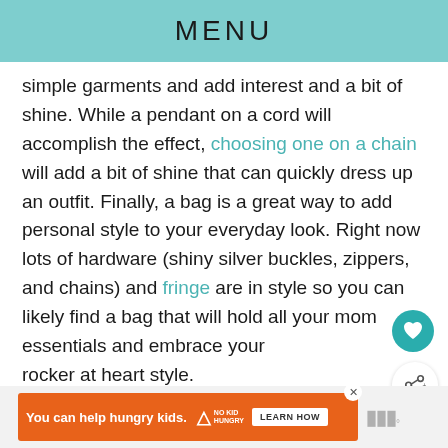MENU
simple garments and add interest and a bit of shine. While a pendant on a cord will accomplish the effect, choosing one on a chain will add a bit of shine that can quickly dress up an outfit. Finally, a bag is a great way to add personal style to your everyday look. Right now lots of hardware (shiny silver buckles, zippers, and chains) and fringe are in style so you can likely find a bag that will hold all your mom essentials and embrace your rocker at heart style.
[Figure (other): Advertisement banner: orange background with text 'You can help hungry kids.' with No Kid Hungry logo and 'LEARN HOW' button]